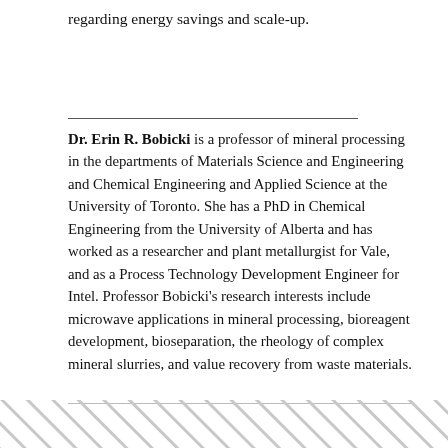regarding energy savings and scale-up.
Dr. Erin R. Bobicki is a professor of mineral processing in the departments of Materials Science and Engineering and Chemical Engineering and Applied Science at the University of Toronto. She has a PhD in Chemical Engineering from the University of Alberta and has worked as a researcher and plant metallurgist for Vale, and as a Process Technology Development Engineer for Intel. Professor Bobicki’s research interests include microwave applications in mineral processing, bioreagent development, bioseparation, the rheology of complex mineral slurries, and value recovery from waste materials.